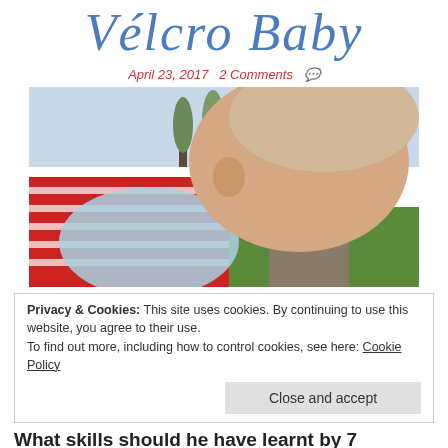Vélcro Baby
April 23, 2017   2 Comments 💬
[Figure (photo): Baby viewed from behind wearing a red striped shirt and a light blue bib, looking out at a park scene with trees, grass, a path, and a person in the background.]
Privacy & Cookies: This site uses cookies. By continuing to use this website, you agree to their use.
To find out more, including how to control cookies, see here: Cookie Policy
Close and accept
What skills should he have learnt by 7 months?